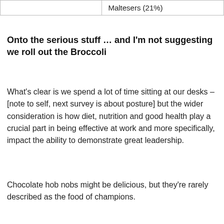|  | Maltesers (21%) |
Onto the serious stuff … and I'm not suggesting we roll out the Broccoli
What's clear is we spend a lot of time sitting at our desks – [note to self, next survey is about posture] but the wider consideration is how diet, nutrition and good health play a crucial part in being effective at work and more specifically, impact the ability to demonstrate great leadership.
Chocolate hob nobs might be delicious, but they're rarely described as the food of champions.